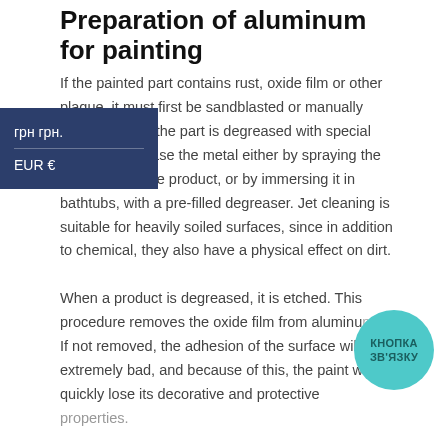Preparation of aluminum for painting
If the painted part contains rust, oxide film or other plaque, it must first be sandblasted or manually cleaned. Then the part is degreased with special means. Degrease the metal either by spraying the product onto the product, or by immersing it in bathtubs, with a pre-filled degreaser. Jet cleaning is suitable for heavily soiled surfaces, since in addition to chemical, they also have a physical effect on dirt.

When a product is degreased, it is etched. This procedure removes the oxide film from aluminum. If not removed, the adhesion of the surface will be extremely bad, and because of this, the paint will quickly lose its decorative and protective properties.